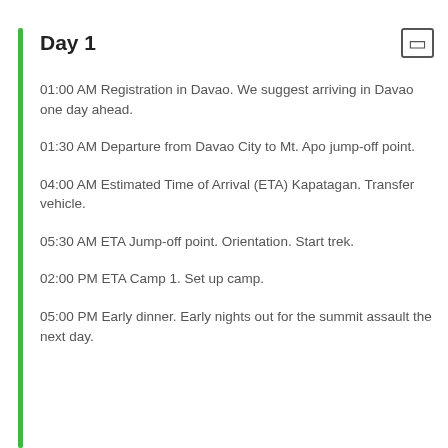Day 1
01:00 AM Registration in Davao. We suggest arriving in Davao one day ahead.
01:30 AM Departure from Davao City to Mt. Apo jump-off point.
04:00 AM Estimated Time of Arrival (ETA) Kapatagan. Transfer vehicle.
05:30 AM ETA Jump-off point. Orientation. Start trek.
02:00 PM ETA Camp 1. Set up camp.
05:00 PM Early dinner. Early nights out for the summit assault the next day.